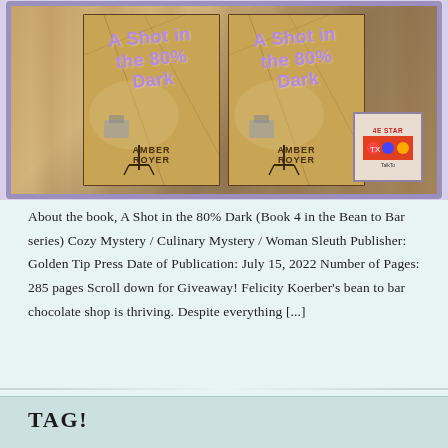[Figure (illustration): Book cover image showing two copies of 'A Shot in the 80% Dark' by Amber Royer, framed with purple border, displayed on a wood-textured background. A small award badge visible in lower right.]
About the book, A Shot in the 80% Dark (Book 4 in the Bean to Bar series) Cozy Mystery / Culinary Mystery / Woman Sleuth Publisher: Golden Tip Press Date of Publication: July 15, 2022 Number of Pages: 285 pages Scroll down for Giveaway! Felicity Koerber's bean to bar chocolate shop is thriving. Despite everything [...]
TAG!